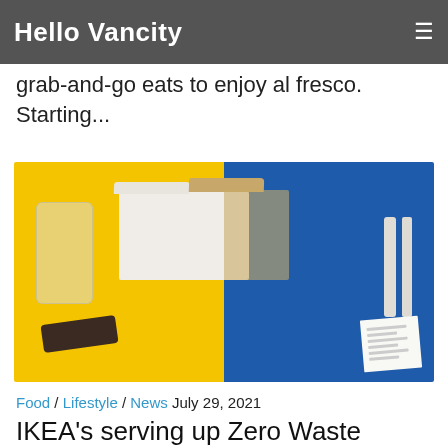Hello Vancity ≡
Kafka's Main Street location is the perfect neighbourhood stop for grab-and-go eats to enjoy al fresco. Starting...
[Figure (photo): Split image showing takeout containers: left half on yellow background with plastic-wrapped cutlery and sauce packets, right half on blue background with reusable container with wooden lid, fork, knife, and receipt]
Food / Lifestyle / News July 29, 2021
IKEA's serving up Zero Waste Takeout with local restaurants across the